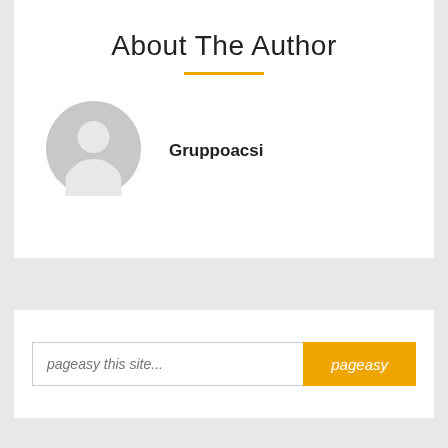About The Author
[Figure (illustration): Generic user avatar placeholder icon — gray circle with white silhouette of a person (head and shoulders)]
Gruppoacsi
pageasy this site...
pageasy